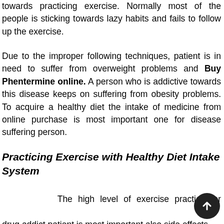towards practicing exercise. Normally most of the people is sticking towards lazy habits and fails to follow up the exercise.
Due to the improper following techniques, patient is in need to suffer from overweight problems and Buy Phentermine online. A person who is addictive towards this disease keeps on suffering from obesity problems. To acquire a healthy diet the intake of medicine from online purchase is most important one for disease suffering person.
Practicing Exercise with Healthy Diet Intake System
The high level of exercise practice for drug addict patient is most important also side effects